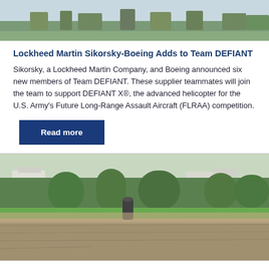[Figure (photo): Aerial or landscape photo with trees and sky, partially visible at top of page]
Lockheed Martin Sikorsky-Boeing Adds to Team DEFIANT
Sikorsky, a Lockheed Martin Company, and Boeing announced six new members of Team DEFIANT. These supplier teammates will join the team to support DEFIANT X®, the advanced helicopter for the U.S. Army's Future Long-Range Assault Aircraft (FLRAA) competition.
Read more
[Figure (photo): Outdoor campus or park scene with stone ledge in foreground, trees, green lawn, buildings, and a cylindrical bollard or post in background]